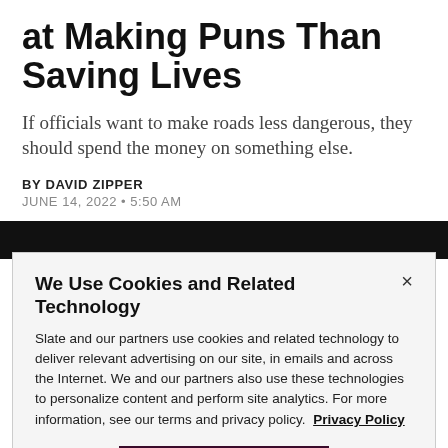at Making Puns Than Saving Lives
If officials want to make roads less dangerous, they should spend the money on something else.
BY DAVID ZIPPER
JUNE 14, 2022 • 5:50 AM
[Figure (photo): Black image bar partially visible behind cookie modal]
We Use Cookies and Related Technology
Slate and our partners use cookies and related technology to deliver relevant advertising on our site, in emails and across the Internet. We and our partners also use these technologies to personalize content and perform site analytics. For more information, see our terms and privacy policy. Privacy Policy
OK